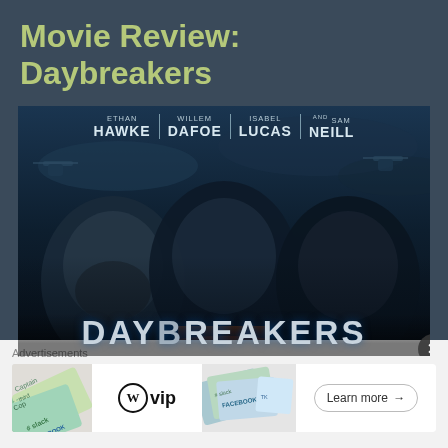Movie Review:
Daybreakers
[Figure (photo): Movie poster for Daybreakers featuring actors Ethan Hawke, Willem Dafoe, Isabel Lucas, and Sam Neill with three faces shown and helicopters in background. Large DAYBREAKERS title at bottom.]
Advertisements
[Figure (infographic): Advertisement banner with WordPress VIP logo, colorful tickets/passes graphic including Slack and Facebook branding, and a 'Learn more' button with arrow.]